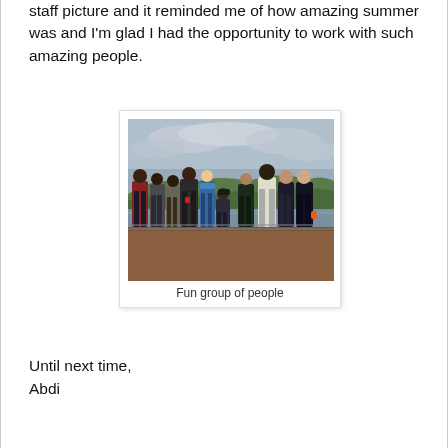staff picture and it reminded me of how amazing summer was and I'm glad I had the opportunity to work with such amazing people.
[Figure (photo): Group photo of approximately 10 young people standing outdoors near a waterfront with hills and cloudy sky in the background, wearing winter/autumn jackets.]
Fun group of people
Until next time,
Abdi